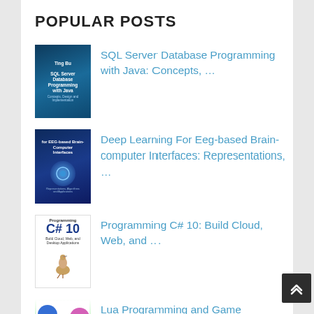POPULAR POSTS
SQL Server Database Programming with Java: Concepts, …
Deep Learning For Eeg-based Brain-computer Interfaces: Representations, …
Programming C# 10: Build Cloud, Web, and …
Lua Programming and Game Development with LÖVE
Strange Code: Esoteric…